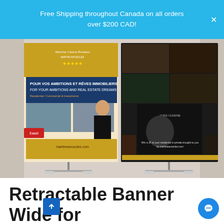Free Shipping throughout Canada on all orders over $200 CAD!
[Figure (photo): Two retractable banner stands displayed in a store. Left banner: Martine Chavst Peladoo real estate agent banner with French and English text 'POUR VOS AMBITIONS ET RÊVES IMMOBILIERS / FOR YOUR AMBITIONS AND REAL ESTATE DREAMS', showing a woman in black outfit and building images, website martineavoscles.com. Right banner: food/chef themed banner with food photos and a chef portrait, text 'UN JF À DOMICILE' and 'Win a JF at your residence in private brought to you by martineavoscles.com'.]
Retractable Banner Wide for KW Real Estate